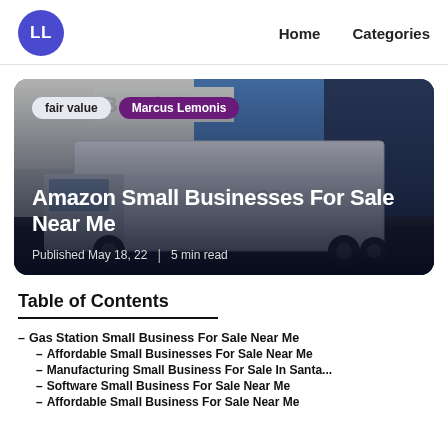LL  Home  Categories
[Figure (photo): Hero card with a white delivery truck parked at a commercial building, with tags 'fair value' and 'Marcus Lemonis', title 'Amazon Small Businesses For Sale Near Me', published May 18, 22, 5 min read]
Table of Contents
– Gas Station Small Business For Sale Near Me
– Affordable Small Businesses For Sale Near Me
– Manufacturing Small Business For Sale In Santa...
– Software Small Business For Sale Near Me
– Affordable Small Business For Sale Near Me